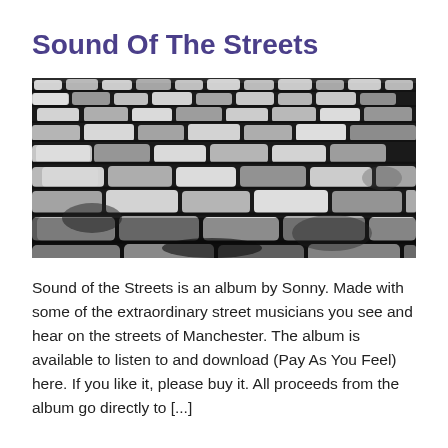Sound Of The Streets
[Figure (photo): Black and white high-contrast photograph of cobblestone street paving stones, viewed from a low angle with perspective receding into the distance.]
Sound of the Streets is an album by Sonny. Made with some of the extraordinary street musicians you see and hear on the streets of Manchester. The album is available to listen to and download (Pay As You Feel) here. If you like it, please buy it. All proceeds from the album go directly to [...]